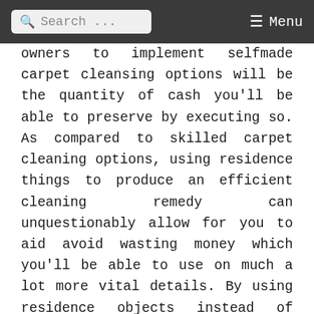Search ... Menu
owners to implement selfmade carpet cleansing options will be the quantity of cash you'll be able to preserve by executing so. As compared to skilled carpet cleaning options, using residence things to produce an efficient cleaning remedy can unquestionably allow for you to aid avoid wasting money which you'll be able to use on much a lot more vital details. By using residence objects instead of highly-priced, brand-name carpet cleansing products and solutions you can assist maintain your selling price selection in look at without compromising the cleanliness of your carpet.
It truly is Hassle-free - Have you at any time